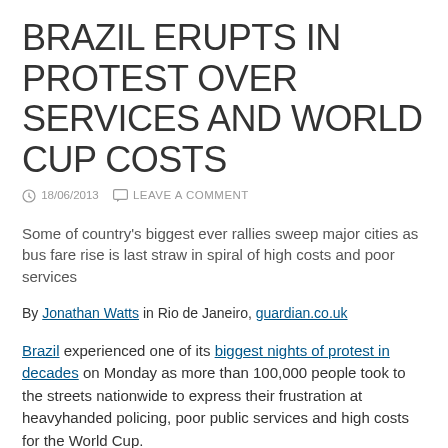BRAZIL ERUPTS IN PROTEST OVER SERVICES AND WORLD CUP COSTS
18/06/2013   LEAVE A COMMENT
Some of country's biggest ever rallies sweep major cities as bus fare rise is last straw in spiral of high costs and poor services
By Jonathan Watts in Rio de Janeiro, guardian.co.uk
Brazil experienced one of its biggest nights of protest in decades on Monday as more than 100,000 people took to the streets nationwide to express their frustration at heavyhanded policing, poor public services and high costs for the World Cup.